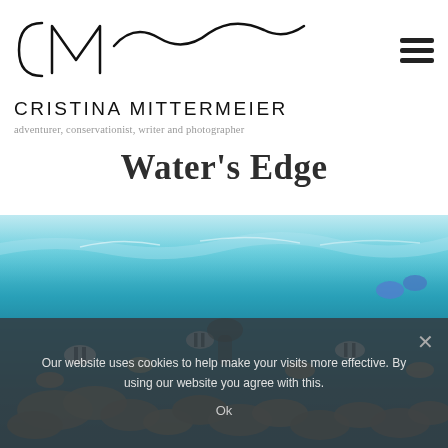[Figure (logo): Cristina Mittermeier cursive monogram logo — CM with a wavy swoosh line]
CRISTINA MITTERMEIER
adventurer, conservationist, writer and photographer
Water's Edge
[Figure (photo): Underwater photograph showing a dense school of tropical fish in clear blue-green water, with a snorkeler visible in the mid-distance and light filtering from the surface above]
Our website uses cookies to help make your visits more effective. By using our website you agree with this.
Ok